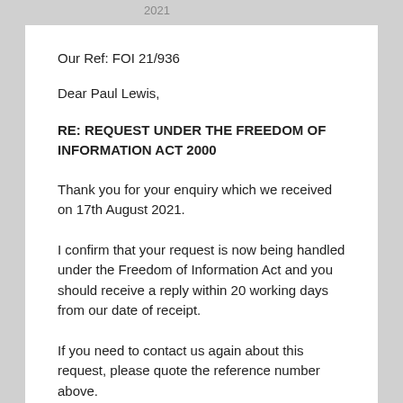2021
Our Ref: FOI 21/936
Dear Paul Lewis,
RE:  REQUEST UNDER THE FREEDOM OF INFORMATION ACT 2000
Thank you for your enquiry which we received on 17th August 2021.
I confirm that your request is now being handled under the Freedom of Information Act and you should receive a reply within 20 working days from our date of receipt.
If you need to contact us again about this request, please quote the reference number above.